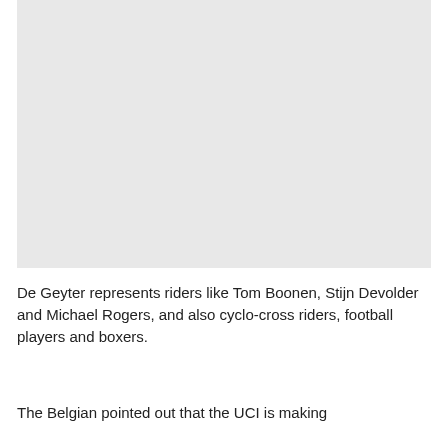[Figure (photo): A light gray rectangular placeholder image occupying the upper portion of the page.]
De Geyter represents riders like Tom Boonen, Stijn Devolder and Michael Rogers, and also cyclo-cross riders, football players and boxers.
The Belgian pointed out that the UCI is making